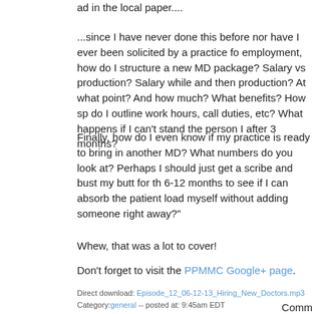ad in the local paper....
...since I have never done this before nor have I ever been solicited by a practice for employment, how do I structure a new MD package? Salary vs production? Salary for a while and then production? At what point? And how much? What benefits? How sp do I outline work hours, call duties, etc? What happens if I can't stand the person I after 3 months?
Finally, how do I even know if my practice is ready to bring in another MD? What numbers do you look at? Perhaps I should just get a scribe and bust my butt for the 6-12 months to see if I can absorb the patient load myself without adding someone right away?"
Whew, that was a lot to cover!
Don't forget to visit the PPMMC Google+ page.
Direct download: Episode_12_06-12-13_Hiring_New_Doctors.mp3
Category:general -- posted at: 9:45am EDT
Comm
Adding comments is not available at this time.